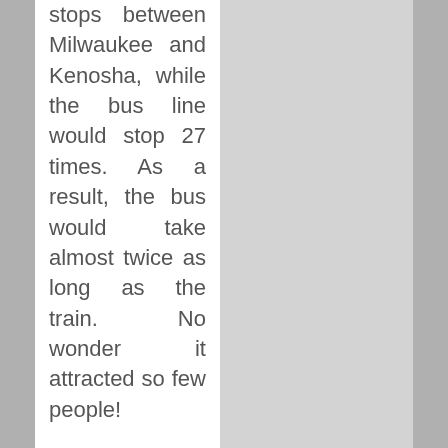stops between Milwaukee and Kenosha, while the bus line would stop 27 times. As a result, the bus would take almost twice as long as the train. No wonder it attracted so few people! The train